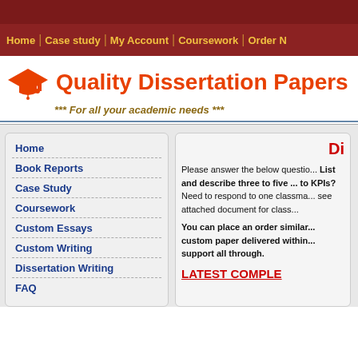Home | Case study | My Account | Coursework | Order N
Quality Dissertation Papers
*** For all your academic needs ***
Home
Book Reports
Case Study
Coursework
Custom Essays
Custom Writing
Dissertation Writing
FAQ
Di
Please answer the below questio... List and describe three to five ... to KPIs?
Need to respond to one classma... see attached document for class...
You can place an order similar... custom paper delivered within... support all through.
LATEST COMPLE